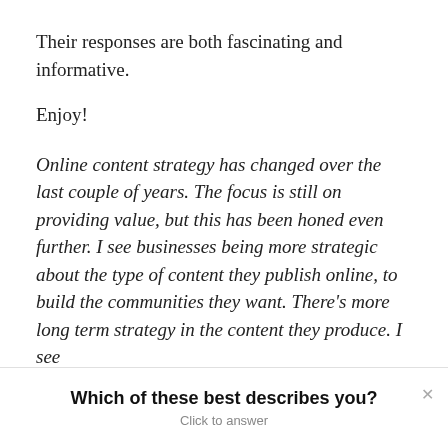Their responses are both fascinating and informative.
Enjoy!
Online content strategy has changed over the last couple of years. The focus is still on providing value, but this has been honed even further. I see businesses being more strategic about the type of content they publish online, to build the communities they want. There’s more long term strategy in the content they produce. I see
Which of these best describes you?
Click to answer